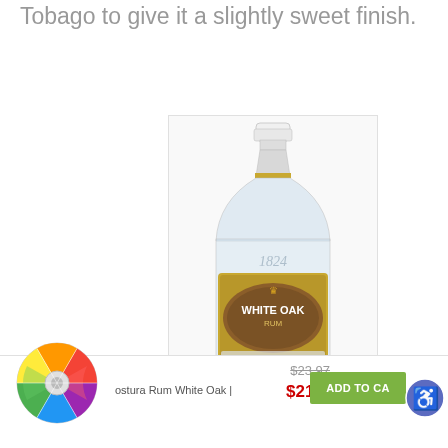Tobago to give it a slightly sweet finish.
[Figure (photo): White Oak Rum bottle, clear glass with white cap and label showing 'White Oak Rum' with gold accents and '1824' embossed on glass]
[Figure (other): Colorful spinning wheel widget with multiple colored segments]
ostura Rum White Oak |
$23.97 (strikethrough original price)
$21.97 (sale price in red)
ADD TO CA (Add to Cart button, truncated)